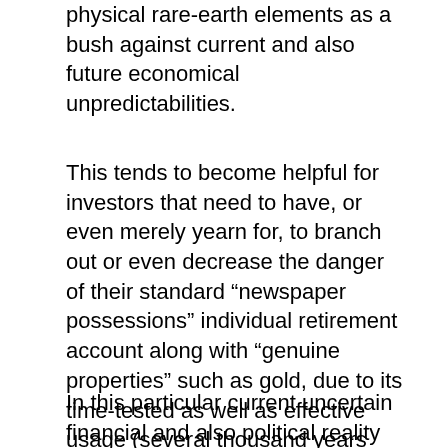physical rare-earth elements as a bush against current and also future economical unpredictabilities.
This tends to become helpful for investors that need to have, or even merely yearn for, to branch out or even decrease the danger of their standard “newspaper possessions” individual retirement account along with “genuine properties” such as gold, due to its time-tested as well as effective usage (several thousand years now …) as an establishment of riches and hedge against economic uncertainty and also political danger.
In this particular current uncertain financial and also political reality that our company